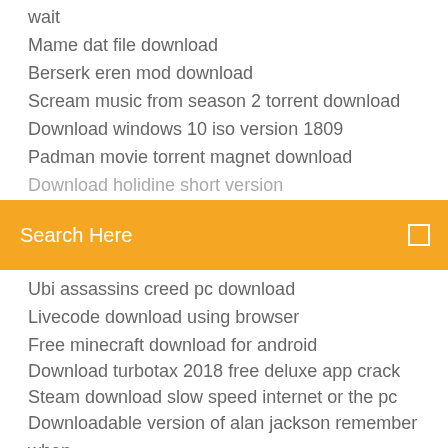wait
Mame dat file download
Berserk eren mod download
Scream music from season 2 torrent download
Download windows 10 iso version 1809
Padman movie torrent magnet download
[Figure (screenshot): Orange search bar with white text 'Search Here' and a small icon on the right]
Ubi assassins creed pc download
Livecode download using browser
Free minecraft download for android
Download turbotax 2018 free deluxe app crack
Steam download slow speed internet or the pc
Downloadable version of alan jackson remember when
Download youtube videos as mp4 firefox doesnt work
Turbotax deluxe 2018 mac download torrents
Free jpg file download
Angular download mp3 file